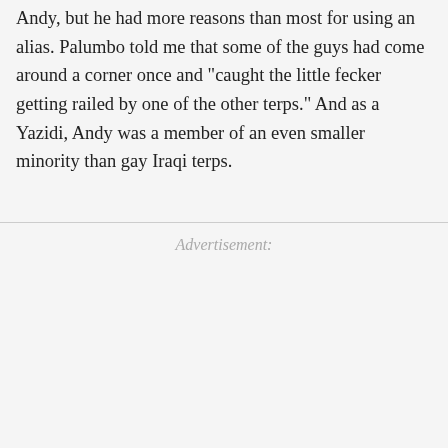Andy, but he had more reasons than most for using an alias. Palumbo told me that some of the guys had come around a corner once and "caught the little fecker getting railed by one of the other terps." And as a Yazidi, Andy was a member of an even smaller minority than gay Iraqi terps.
Advertisement: